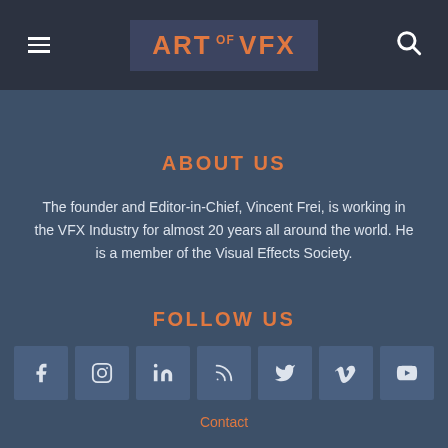ART of VFX
ABOUT US
The founder and Editor-in-Chief, Vincent Frei, is working in the VFX Industry for almost 20 years all around the world. He is a member of the Visual Effects Society.
FOLLOW US
[Figure (other): Row of 7 social media icons: Facebook, Instagram, LinkedIn, RSS, Twitter, Vimeo, YouTube]
Contact